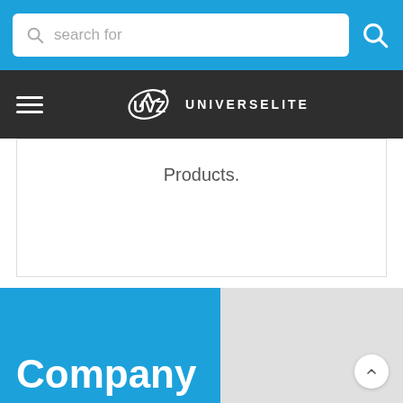search for
[Figure (logo): UVZ UniversElite logo with circular swoosh graphic and text UNIVERSELITE on dark nav bar]
Products.
Company